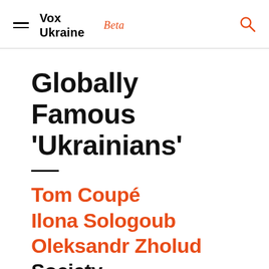Vox Ukraine — Beta
Globally Famous 'Ukrainians'
Tom Coupé
Ilona Sologoub
Oleksandr Zholud
Society